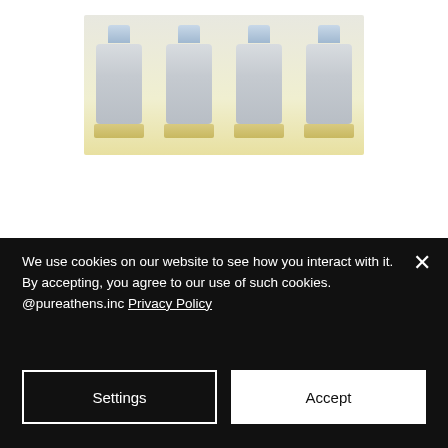[Figure (photo): Row of product bottles/vials with light blue caps and cream/gold labels arranged side by side against a light background]
We use cookies on our website to see how you interact with it. By accepting, you agree to our use of such cookies. @pureathens.inc Privacy Policy
Settings
Accept